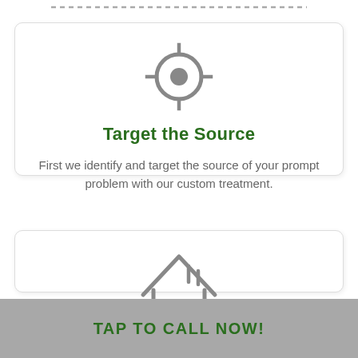[Figure (illustration): Dashed horizontal line near the top of the page]
[Figure (illustration): Target/crosshair icon in gray, centered inside the first card]
Target the Source
First we identify and target the source of your prompt problem with our custom treatment.
[Figure (illustration): House outline icon in gray, centered inside the second card]
TAP TO CALL NOW!